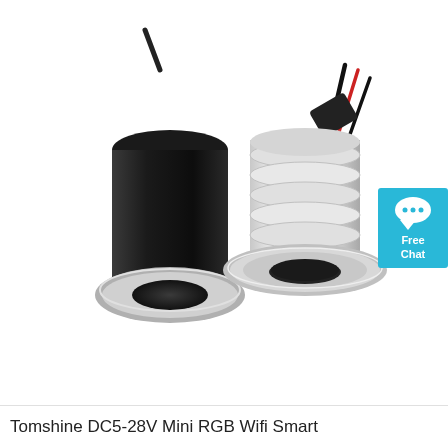[Figure (photo): Two mini RGB WiFi smart LED recessed lights with cylindrical bodies — one shown with black housing (left) and one with silver/aluminum ribbed housing (right), both with wires attached. A teal 'Free Chat' badge with speech bubble icon appears in the upper right corner.]
Tomshine DC5-28V Mini RGB Wifi Smart